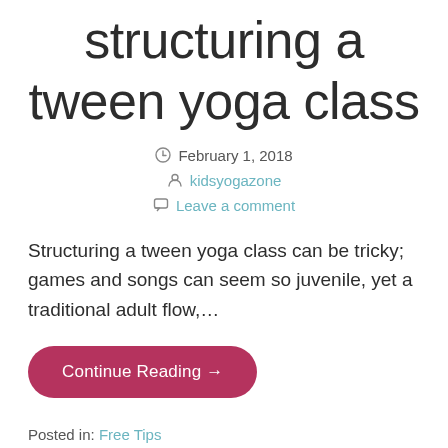structuring a tween yoga class
February 1, 2018
kidsyogazone
Leave a comment
Structuring a tween yoga class can be tricky; games and songs can seem so juvenile, yet a traditional adult flow,…
Continue Reading →
Posted in: Free Tips